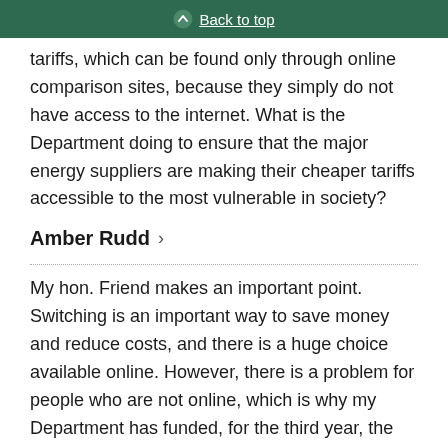Back to top
tariffs, which can be found only through online comparison sites, because they simply do not have access to the internet. What is the Department doing to ensure that the major energy suppliers are making their cheaper tariffs accessible to the most vulnerable in society?
Amber Rudd
My hon. Friend makes an important point. Switching is an important way to save money and reduce costs, and there is a huge choice available online. However, there is a problem for people who are not online, which is why my Department has funded, for the third year, the big energy saving network. The